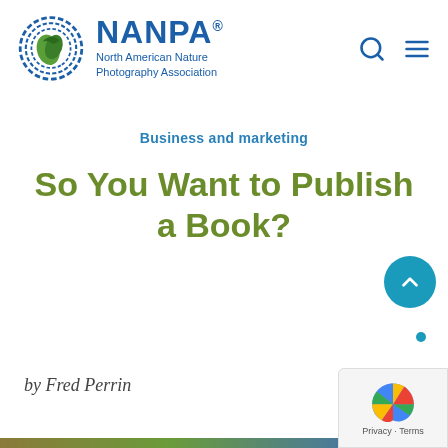[Figure (logo): NANPA logo: circular blue swirl design with green leaf/bird, beside text 'NANPA North American Nature Photography Association']
Business and marketing
So You Want to Publish a Book?
by Fred Perrin